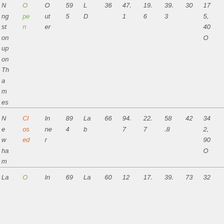| N ng st on up on Th a m es | O pe n | O ut er | 59 5 | L D | 36 | 47. 1 | 19. 6 | 39. 3 | 30 | 17 5, 40 O |
| N e w ha m | Cl os ed | In ne r | 89 4 | La b | 66 | 94. 7 | 22. 7 | 58 .8 | 42 | 34 2, 90 O |
| La | O | In | 69 | La | 60 | 12 | 17. | 39. | 73 | 32 |